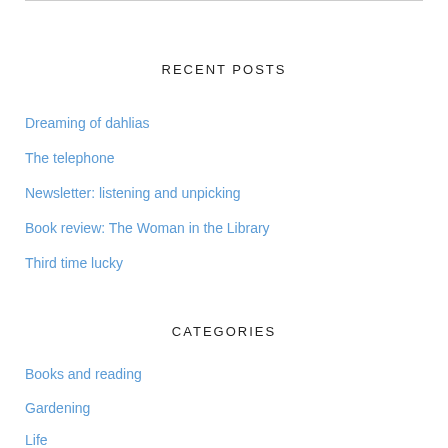RECENT POSTS
Dreaming of dahlias
The telephone
Newsletter: listening and unpicking
Book review: The Woman in the Library
Third time lucky
CATEGORIES
Books and reading
Gardening
Life